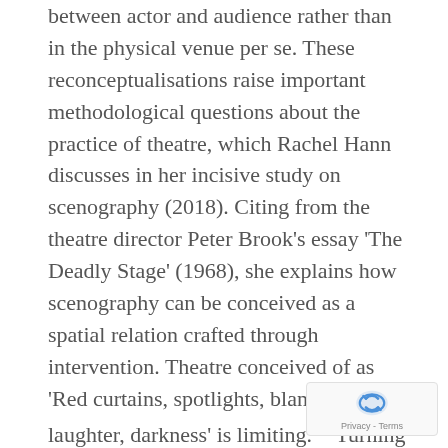between actor and audience rather than in the physical venue per se. These reconceptualisations raise important methodological questions about the practice of theatre, which Rachel Hann discusses in her incisive study on scenography (2018). Citing from the theatre director Peter Brook's essay 'The Deadly Stage' (1968), she explains how scenography can be conceived as a spatial relation crafted through intervention. Theatre conceived of as 'Red curtains, spotlights, blank verse, laughter, darkness' is limiting.¹⁰ Turning it on its head, as Brook does, in his revision of what constitutes theatre: 'I can take any empty space and call it a bare stage. A man walks across this empty space whilst someone else is
[Figure (other): reCAPTCHA privacy badge with circular arrow icon and 'Privacy - Terms' text]